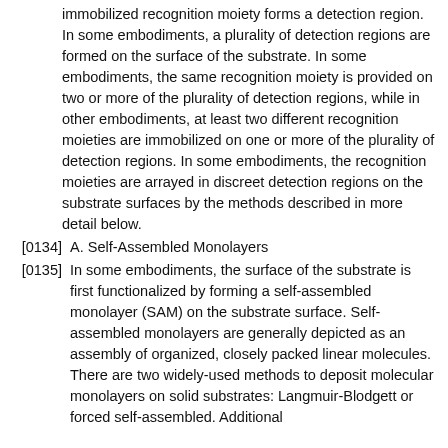immobilized recognition moiety forms a detection region. In some embodiments, a plurality of detection regions are formed on the surface of the substrate. In some embodiments, the same recognition moiety is provided on two or more of the plurality of detection regions, while in other embodiments, at least two different recognition moieties are immobilized on one or more of the plurality of detection regions. In some embodiments, the recognition moieties are arrayed in discreet detection regions on the substrate surfaces by the methods described in more detail below.
A. Self-Assembled Monolayers
In some embodiments, the surface of the substrate is first functionalized by forming a self-assembled monolayer (SAM) on the substrate surface. Self-assembled monolayers are generally depicted as an assembly of organized, closely packed linear molecules. There are two widely-used methods to deposit molecular monolayers on solid substrates: Langmuir-Blodgett or forced self-assembled. Additio...